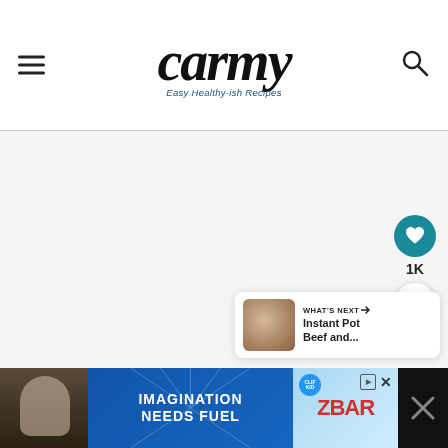carmy — Easy Healthy-ish Recipes
[Figure (screenshot): Main content area — large light gray blank area (article content not loaded)]
[Figure (infographic): Heart/save button (teal circle with heart icon), 1K count label, and share button (white circle with share icon) on the right side]
[Figure (infographic): What's Next panel: thumbnail of Instant Pot Beef dish, label 'WHAT'S NEXT →', title 'Instant Pot Beef and...']
[Figure (infographic): Advertisement bar at bottom: child eating Clif Kid ZBar, text 'IMAGINATION NEEDS FUEL', ZBar product image, close X button]